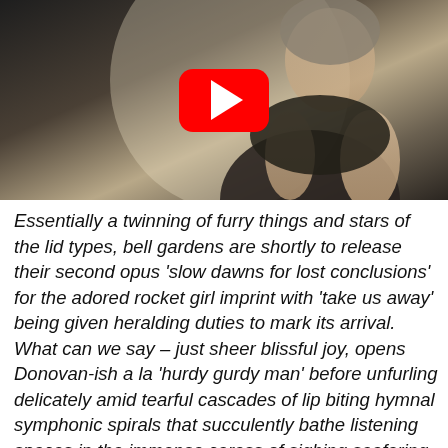[Figure (screenshot): YouTube video thumbnail showing a person in a dark sleeveless top with a YouTube play button overlay in the center]
Essentially a twinning of furry things and stars of the lid types, bell gardens are shortly to release their second opus 'slow dawns for lost conclusions' for the adored rocket girl imprint with 'take us away' being given heralding duties to mark its arrival. What can we say – just sheer blissful joy, opens Donovan-ish a la 'hurdy gurdy man' before unfurling delicately amid tearful cascades of lip biting hymnal symphonic spirals that succulently bathe listening spaces in the immense caress of sighing seafaring overtures- those preferring reference markers